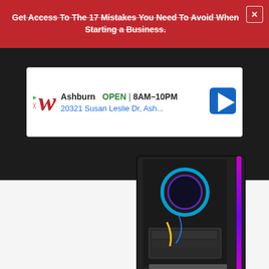[Figure (screenshot): Red promotional banner with text 'Get Access To The 17 Mistakes You Need To Avoid When Starting a Business.' with a close (X) button, shown as a website overlay/popup]
[Figure (screenshot): Walgreens advertisement showing location in Ashburn, OPEN 8AM-10PM, address 20321 Susan Leslie Dr, Ash...]
[Figure (photo): Gaming desktop PC tower with RGB lighting visible through tempered glass side panel, showing internal components including CPU cooler, GPU, cables. Thermaltake branded case with purple RGB strip on front.]